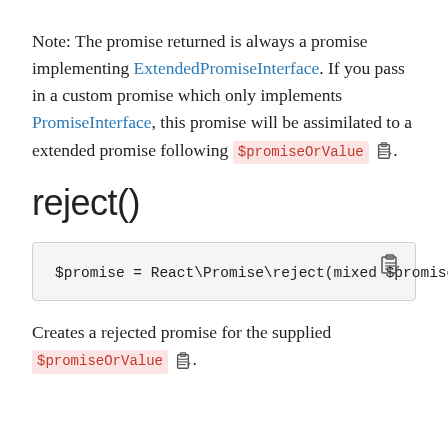Note: The promise returned is always a promise implementing ExtendedPromiseInterface. If you pass in a custom promise which only implements PromiseInterface, this promise will be assimilated to a extended promise following $promiseOrValue .
reject()
$promise = React\Promise\reject(mixed $promiseOrVa
Creates a rejected promise for the supplied $promiseOrValue .